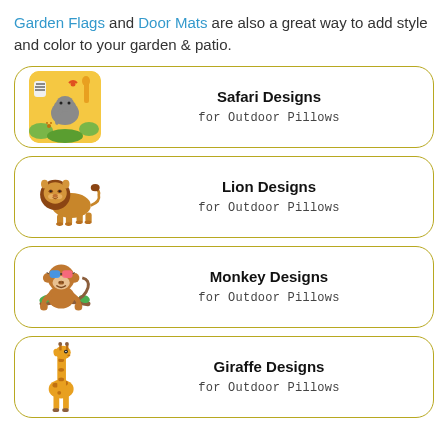Garden Flags and Door Mats are also a great way to add style and color to your garden & patio.
Safari Designs for Outdoor Pillows
Lion Designs for Outdoor Pillows
Monkey Designs for Outdoor Pillows
Giraffe Designs for Outdoor Pillows